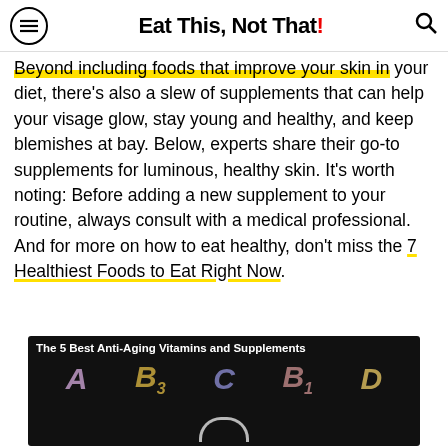Eat This, Not That!
Beyond including foods that improve your skin in your diet, there's also a slew of supplements that can help your visage glow, stay young and healthy, and keep blemishes at bay. Below, experts share their go-to supplements for luminous, healthy skin. It's worth noting: Before adding a new supplement to your routine, always consult with a medical professional. And for more on how to eat healthy, don't miss the 7 Healthiest Foods to Eat Right Now.
[Figure (photo): Dark background with chalk-drawn vitamin letters A, B3, C, B1, D and a partial circle. Caption reads: The 5 Best Anti-Aging Vitamins and Supplements]